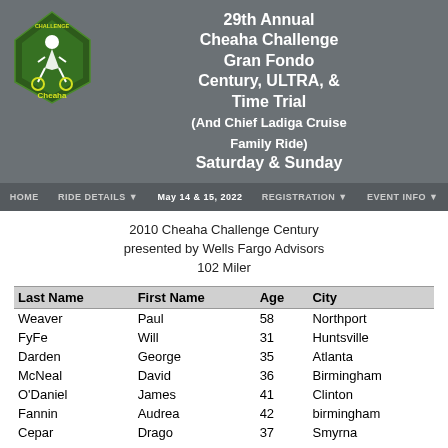29th Annual Cheaha Challenge Gran Fondo Century, ULTRA, & Time Trial (And Chief Ladiga Cruise Family Ride) Saturday & Sunday May 14 & 15, 2022
HOME   RIDE DETAILS   REGISTRATION   EVENT INFO
2010 Cheaha Challenge Century presented by Wells Fargo Advisors 102 Miler
| Last Name | First Name | Age | City |
| --- | --- | --- | --- |
| Weaver | Paul | 58 | Northport |
| FyFe | Will | 31 | Huntsville |
| Darden | George | 35 | Atlanta |
| McNeal | David | 36 | Birmingham |
| O'Daniel | James | 41 | Clinton |
| Fannin | Audrea | 42 | birmingham |
| Cepar | Drago | 37 | Smyrna |